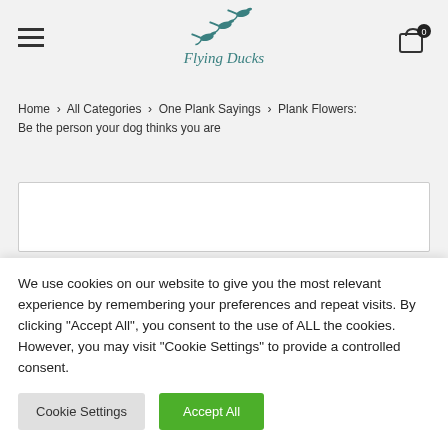Flying Ducks
Home › All Categories › One Plank Sayings › Plank Flowers: Be the person your dog thinks you are
We use cookies on our website to give you the most relevant experience by remembering your preferences and repeat visits. By clicking "Accept All", you consent to the use of ALL the cookies. However, you may visit "Cookie Settings" to provide a controlled consent.